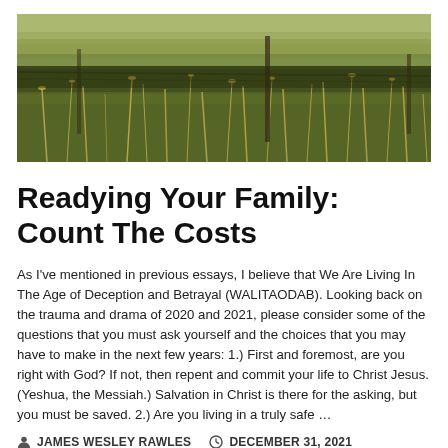[Figure (photo): Outdoor landscape photo showing a grassy field with a wire fence and fence post in the foreground, with dry golden grasses against a muted green-brown background.]
Readying Your Family: Count The Costs
As I've mentioned in previous essays, I believe that We Are Living In The Age of Deception and Betrayal (WALITAODAB). Looking back on the trauma and drama of 2020 and 2021, please consider some of the questions that you must ask yourself and the choices that you may have to make in the next few years: 1.) First and foremost, are you right with God? If not, then repent and commit your life to Christ Jesus. (Yeshua, the Messiah.) Salvation in Christ is there for the asking, but you must be saved. 2.) Are you living in a truly safe …
JAMES WESLEY RAWLES   DECEMBER 31, 2021